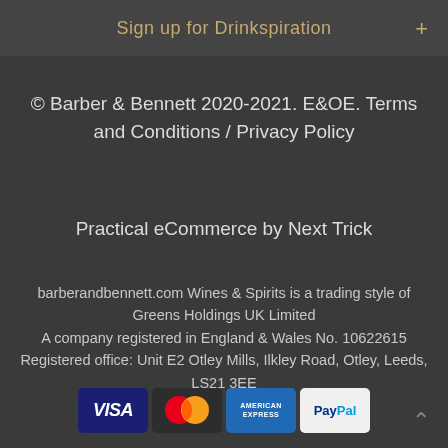Sign up for Drinkspiration
© Barber & Bennett 2020-2021. E&OE. Terms and Conditions / Privacy Policy
Practical eCommerce by Next Trick
barberandbennett.com Wines & Spirits is a trading style of Greens Holdings UK Limited
A company registered in England & Wales No. 10622615
Registered office: Unit E2 Otley Mills, Ilkley Road, Otley, Leeds, LS21 3EE
[Figure (logo): Payment method logos: VISA, Mastercard, American Express, PayPal]